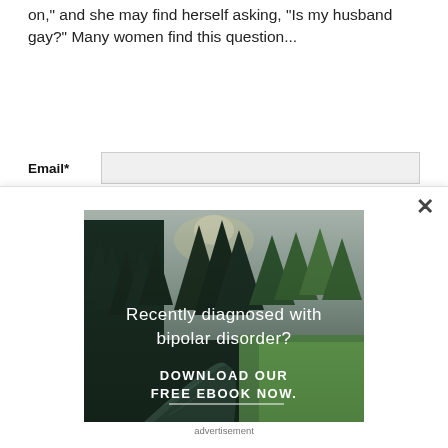on," and she may find herself asking, "Is my husband gay?" Many women find this question...
Mental Health Newsletter
Email*
[Figure (photo): Forest and river landscape advertisement image with overlay text: 'Recently diagnosed with bipolar disorder? DOWNLOAD OUR FREE EBOOK NOW.' with a horizontal underline beneath.]
advertisement